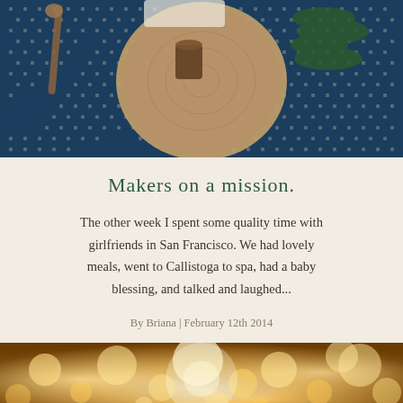[Figure (photo): Overhead view of a rustic table setting with a wooden round board, candle, greenery/pine branches, wooden utensil, and a blue patterned textile background]
Makers on a mission.
The other week I spent some quality time with girlfriends in San Francisco. We had lovely meals, went to Callistoga to spa, had a baby blessing, and talked and laughed...
By Briana | February 12th 2014
[Figure (photo): Warm bokeh lights photo with golden/amber glowing string lights against a dark background]